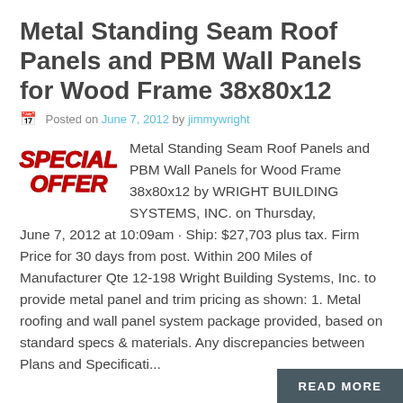Metal Standing Seam Roof Panels and PBM Wall Panels for Wood Frame 38x80x12
Posted on June 7, 2012 by jimmywright
Metal Standing Seam Roof Panels and PBM Wall Panels for Wood Frame 38x80x12 by WRIGHT BUILDING SYSTEMS, INC. on Thursday, June 7, 2012 at 10:09am · Ship: $27,703 plus tax. Firm Price for 30 days from post. Within 200 Miles of Manufacturer Qte 12-198 Wright Building Systems, Inc. to provide metal panel and trim pricing as shown: 1. Metal roofing and wall panel system package provided, based on standard specs & materials. Any discrepancies between Plans and Specificati...
READ MORE